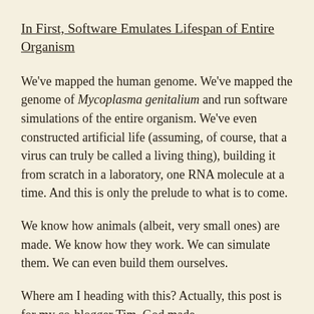In First, Software Emulates Lifespan of Entire Organism
We've mapped the human genome. We've mapped the genome of Mycoplasma genitalium and run software simulations of the entire organism. We've even constructed artificial life (assuming, of course, that a virus can truly be called a living thing), building it from scratch in a laboratory, one RNA molecule at a time. And this is only the prelude to what is to come.
We know how animals (albeit, very small ones) are made. We know how they work. We can simulate them. We can even build them ourselves.
Where am I heading with this? Actually, this post is for my co-blogger Tim. God made...